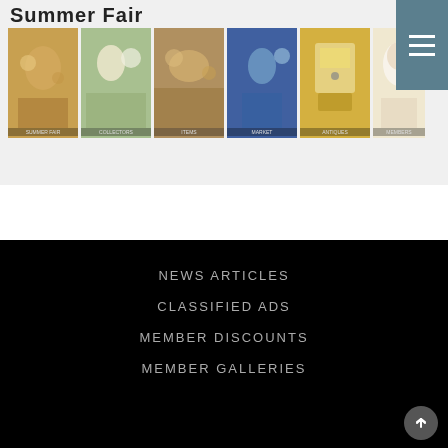[Figure (photo): A horizontal strip of six thumbnail photos from what appears to be an antique fair or outdoor market event, showing people browsing items and an antique clock.]
NEWS ARTICLES
CLASSIFIED ADS
MEMBER DISCOUNTS
MEMBER GALLERIES